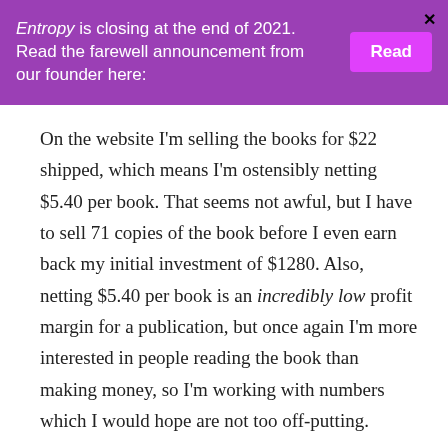Entropy is closing at the end of 2021. Read the farewell announcement from our founder here:
On the website I'm selling the books for $22 shipped, which means I'm ostensibly netting $5.40 per book. That seems not awful, but I have to sell 71 copies of the book before I even earn back my initial investment of $1280. Also, netting $5.40 per book is an incredibly low profit margin for a publication, but once again I'm more interested in people reading the book than making money, so I'm working with numbers which I would hope are not too off-putting.